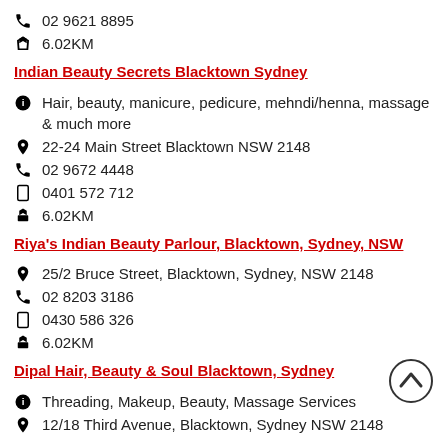02 9621 8895
6.02KM
Indian Beauty Secrets Blacktown Sydney
Hair, beauty, manicure, pedicure, mehndi/henna, massage & much more
22-24 Main Street Blacktown NSW 2148
02 9672 4448
0401 572 712
6.02KM
Riya's Indian Beauty Parlour, Blacktown, Sydney, NSW
25/2 Bruce Street, Blacktown, Sydney, NSW 2148
02 8203 3186
0430 586 326
6.02KM
Dipal Hair, Beauty & Soul Blacktown, Sydney
Threading, Makeup, Beauty, Massage Services
12/18 Third Avenue, Blacktown, Sydney NSW 2148